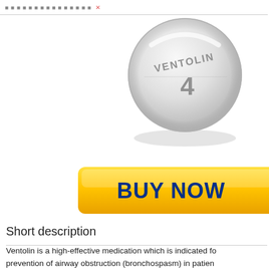Ventolin pill product page header
[Figure (photo): A round white tablet pill with 'VENTOLIN' engraved on top and '4' engraved below, shown at an angle with a subtle shadow.]
[Figure (other): A yellow gradient 'BUY NOW' button, partially cut off on the right side.]
Short description
Ventolin is a high-effective medication which is indicated for prevention of airway obstruction (bronchospasm) in patients with patients with exercise-induced asthma. Ventolin can also be patients with emphysema and chronic bronchitis when the